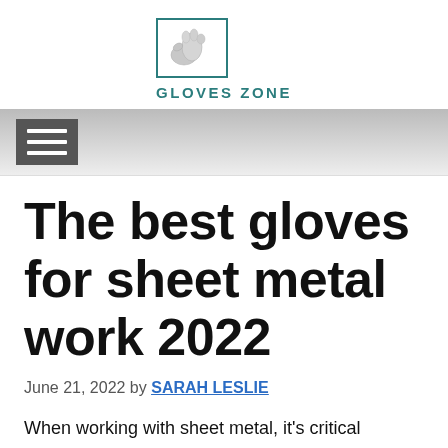[Figure (logo): Gloves Zone logo: a glove icon inside a teal rectangle border, with 'GLOVES ZONE' text below in teal bold letters]
☰ (hamburger navigation menu icon)
The best gloves for sheet metal work 2022
June 21, 2022 by SARAH LESLIE
When working with sheet metal, it's critical